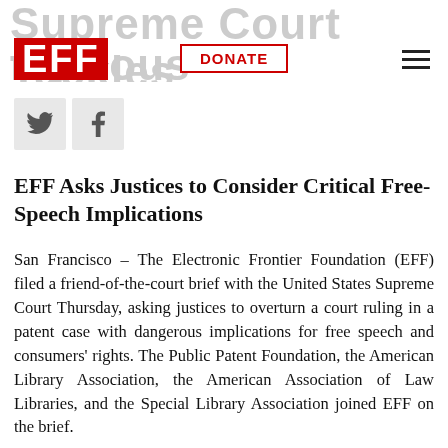Supreme Court Tackles EFF Dangerous Patent Ruling
[Figure (logo): EFF (Electronic Frontier Foundation) logo in red with white letters, DONATE button outlined in red, hamburger menu icon]
[Figure (illustration): Social media share icons: Twitter bird icon and Facebook f icon on light grey square backgrounds]
EFF Asks Justices to Consider Critical Free-Speech Implications
San Francisco – The Electronic Frontier Foundation (EFF) filed a friend-of-the-court brief with the United States Supreme Court Thursday, asking justices to overturn a court ruling in a patent case with dangerous implications for free speech and consumers' rights. The Public Patent Foundation, the American Library Association, the American Association of Law Libraries, and the Special Library Association joined EFF on the brief.